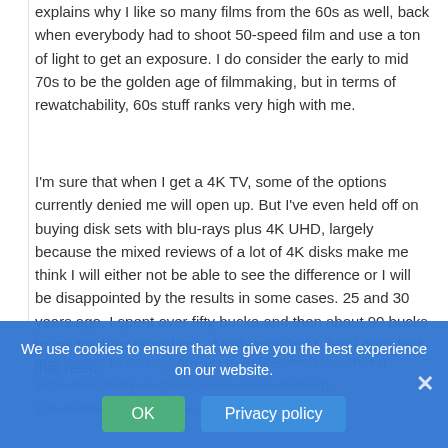explains why I like so many films from the 60s as well, back when everybody had to shoot 50-speed film and use a ton of light to get an exposure. I do consider the early to mid 70s to be the golden age of filmmaking, but in terms of rewatchability, 60s stuff ranks very high with me.
I'm sure that when I get a 4K TV, some of the options currently denied me will open up. But I've even held off on buying disk sets with blu-rays plus 4K UHD, largely because the mixed reviews of a lot of 4K disks make me think I will either not be able to see the difference or I will be disappointed by the results in some cases. 25 and 30 years ago, I spent over fifty bucka and then about 90 bucks to get the best laserdiscs of Kubrick's 2001, but I don't feel that need any longer to be urgently up to date, which is either a sign of maturity or (more likely, to be honest) late-middle-age poverty.
TG...
Reply to kmart
We use cookies to ensure that we give you the best experience on our website.